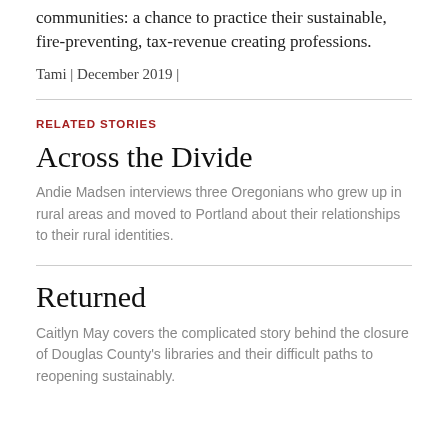communities: a chance to practice their sustainable, fire-preventing, tax-revenue creating professions.
Tami | December 2019 |
RELATED STORIES
Across the Divide
Andie Madsen interviews three Oregonians who grew up in rural areas and moved to Portland about their relationships to their rural identities.
Returned
Caitlyn May covers the complicated story behind the closure of Douglas County's libraries and their difficult paths to reopening sustainably.